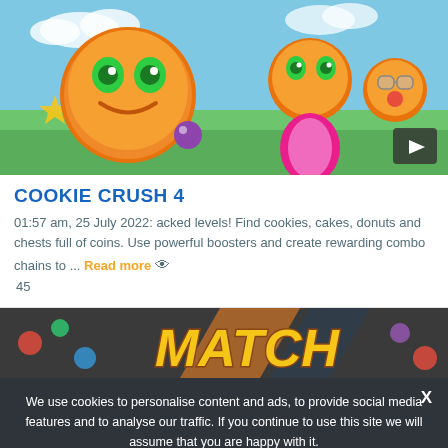[Figure (screenshot): Cookie Crush 4 game screenshot showing animated cookie characters (large smiling orange cookie, girl cookie, and small cookie with glasses) on a colorful background with a video play button in bottom right corner]
COOKIE CRUSH 4
01:57 am, 25 July 2022: acked levels! Find cookies, cakes, donuts and chests full of coins. Use powerful boosters and create rewarding combo chains to ... Read more 👁 45
[Figure (screenshot): Partial game screenshot showing MATCH text in stylized yellow/gold font on a colorful candy-themed background]
We use cookies to personalise content and ads, to provide social media features and to analyse our traffic. If you continue to use this site we will assume that you are happy with it.